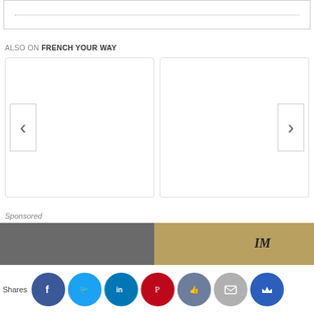[Figure (screenshot): Top comment box with dotted border line inside]
ALSO ON FRENCH YOUR WAY
[Figure (screenshot): Two content cards side by side with left chevron arrow on left card and right chevron arrow on right card]
Sponsored
[Figure (screenshot): Sponsored image strip with two images visible]
[Figure (screenshot): Social sharing bar with Shares label and icons: Facebook, Twitter, LinkedIn, Pinterest, Like, Mail, Crown]